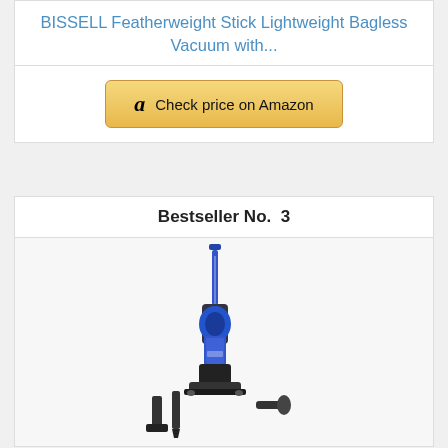BISSELL Featherweight Stick Lightweight Bagless Vacuum with...
Check price on Amazon
Bestseller No. 3
[Figure (photo): Blue and black upright vacuum cleaner with attachments displayed below it, shown on white background]